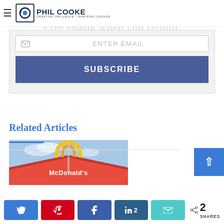Phil Cooke — Creating Influence · Inspiring Change
to get weekly updates Free eBook when you signup!
ENTER EMAIL
SUBSCRIBE
Related Articles
[Figure (photo): McDonald's restaurant exterior with red roof and golden arches sign]
2 SHARES